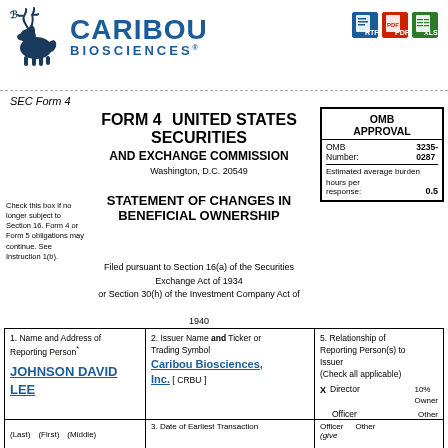[Figure (logo): Caribou Biosciences logo with caribou animal graphic and blue company name text]
SEC Form 4
FORM 4  UNITED STATES SECURITIES AND EXCHANGE COMMISSION
Washington, D.C. 20549
STATEMENT OF CHANGES IN BENEFICIAL OWNERSHIP
Check this box if no longer subject to Section 16. Form 4 or Form 5 obligations may continue. See Instruction 1(b).
OMB APPROVAL
OMB Number: 3235-0287
Estimated average burden hours per response: 0.5
Filed pursuant to Section 16(a) of the Securities Exchange Act of 1934 or Section 30(h) of the Investment Company Act of 1940
| Name and Address of Reporting Person | Issuer Name and Ticker or Trading Symbol | Relationship of Reporting Person(s) to Issuer |
| --- | --- | --- |
| JOHNSON DAVID LEE | Caribou Biosciences, Inc. [ CRBU ] | Director  10% Owner
Officer  Other |
| (Last)  (First)  (Middle) | 3. Date of Earliest Transaction | Officer (give title)  Other |